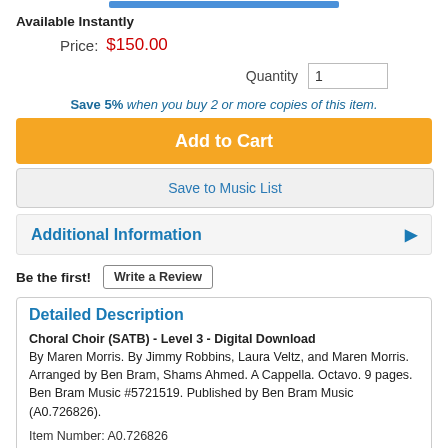Available Instantly
Price: $150.00
Quantity 1
Save 5% when you buy 2 or more copies of this item.
Add to Cart
Save to Music List
Additional Information
Be the first! Write a Review
Detailed Description
Choral Choir (SATB) - Level 3 - Digital Download
By Maren Morris. By Jimmy Robbins, Laura Veltz, and Maren Morris. Arranged by Ben Bram, Shams Ahmed. A Cappella. Octavo. 9 pages. Ben Bram Music #5721519. Published by Ben Bram Music (A0.726826).

Item Number: A0.726826